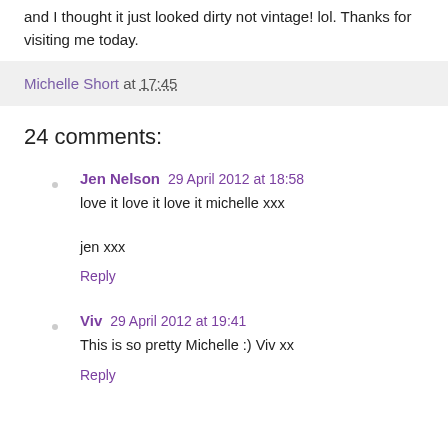and I thought it just looked dirty not vintage! lol. Thanks for visiting me today.
Michelle Short at 17:45
24 comments:
Jen Nelson 29 April 2012 at 18:58
love it love it love it michelle xxx

jen xxx
Reply
Viv 29 April 2012 at 19:41
This is so pretty Michelle :) Viv xx
Reply